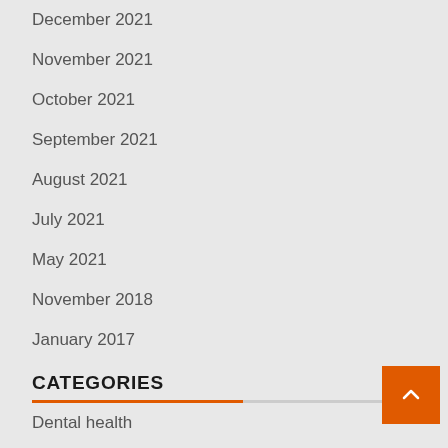December 2021
November 2021
October 2021
September 2021
August 2021
July 2021
May 2021
November 2018
January 2017
CATEGORIES
Dental health